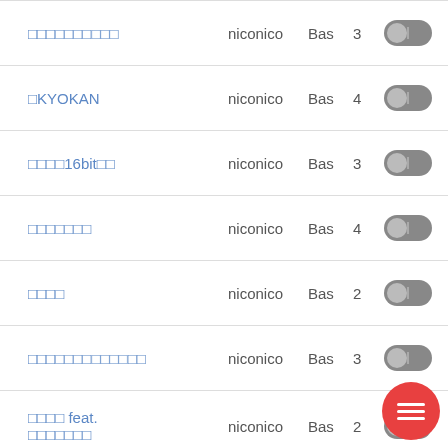□□□□□□□□□□ niconico Bas 3
□KYOKAN niconico Bas 4
□□□□16bit□□ niconico Bas 3
□□□□□□□ niconico Bas 4
□□□□ niconico Bas 2
□□□□□□□□□□□□□ niconico Bas 3
□□□□ feat. □□□□□□□ niconico Bas 2